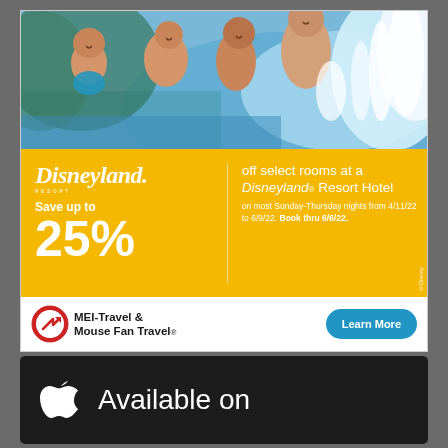[Figure (photo): Family playing and splashing in a resort pool, joyful expressions, water splashing, outdoor resort setting]
Disneyland RESORT
Save up to 25%
off select rooms at a Disneyland® Resort Hotel on most Sunday-Thursday nights from 4/11/22 to 6/9/22. Book thru 6/6/22.
[Figure (logo): MEI-Travel & Mouse Fan Travel logo with circular red/white arrow icon]
Learn More
[Figure (screenshot): Available on the App Store banner with Apple logo on dark background]